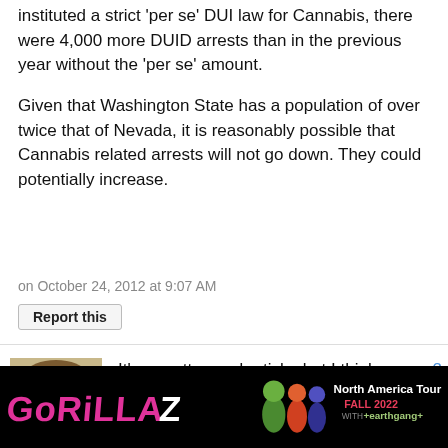instituted a strict 'per se' DUI law for Cannabis, there were 4,000 more DUID arrests than in the previous year without the 'per se' amount.
Given that Washington State has a population of over twice that of Nevada, it is reasonably possible that Cannabis related arrests will not go down. They could potentially increase.
on October 24, 2012 at 9:07 AM
Report this
[Figure (photo): User avatar showing a cartoon/illustrated monkey or ape face with brown tones]
It's a pretty good article, but I think you risk alienating the concern troll vote by attacking them like that.
2
[Figure (photo): Gorillaz band advertisement banner for North America Tour Fall 2022 with earthgang, black background with pink Gorillaz logo text and cartoon band members]